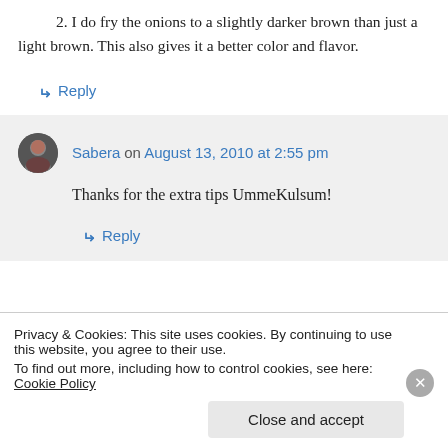2. I do fry the onions to a slightly darker brown than just a light brown. This also gives it a better color and flavor.
↳ Reply
Sabera on August 13, 2010 at 2:55 pm
Thanks for the extra tips UmmeKulsum!
↳ Reply
Privacy & Cookies: This site uses cookies. By continuing to use this website, you agree to their use.
To find out more, including how to control cookies, see here: Cookie Policy
Close and accept